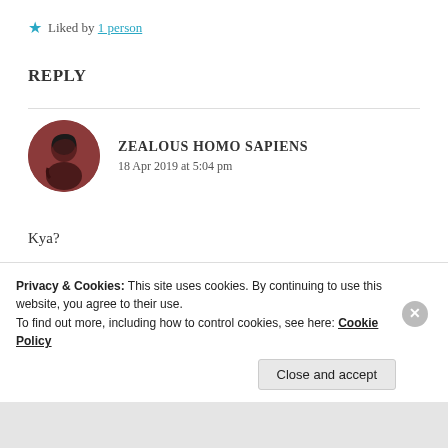★ Liked by 1 person
REPLY
[Figure (photo): Circular avatar photo of a person with dark hair against a reddish-brown background]
ZEALOUS HOMO SAPIENS
18 Apr 2019 at 5:04 pm
Kya?
Privacy & Cookies: This site uses cookies. By continuing to use this website, you agree to their use.
To find out more, including how to control cookies, see here: Cookie Policy
Close and accept